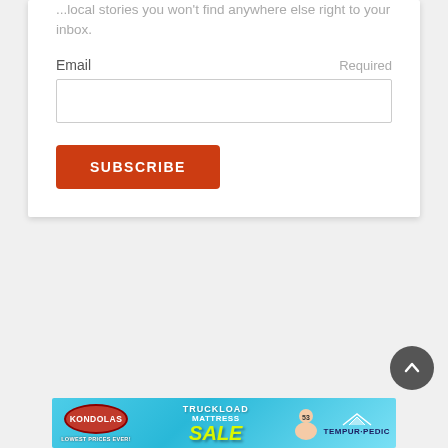...local stories you won't find anywhere else right to your inbox.
Email  Required
[Figure (screenshot): Email input form field with subscribe button]
[Figure (illustration): Kondolas Truckload Mattress Sale advertisement banner featuring TEMPUR-PEDIC branding]